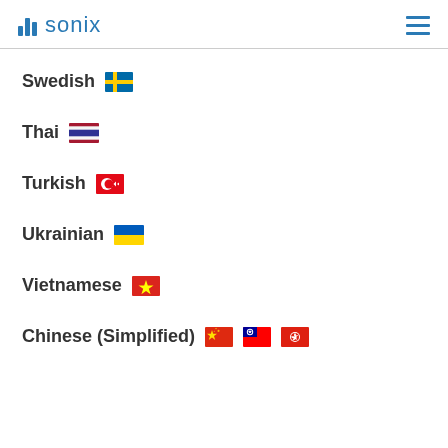Sonix
Swedish 🇸🇪
Thai 🇹🇭
Turkish 🇹🇷
Ukrainian 🇺🇦
Vietnamese 🇻🇳
Chinese (Simplified) 🇨🇳 🇹🇼 🇭🇰